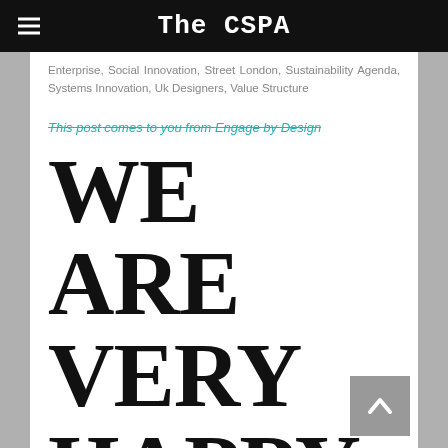The CSPA
Enterprise, Social Innovation, Street London, Sustainability Agenda, Systems Innovation, Uk Designers, Value Structure
This post comes to you from Engage by Design
WE ARE VERY HAPPY TO